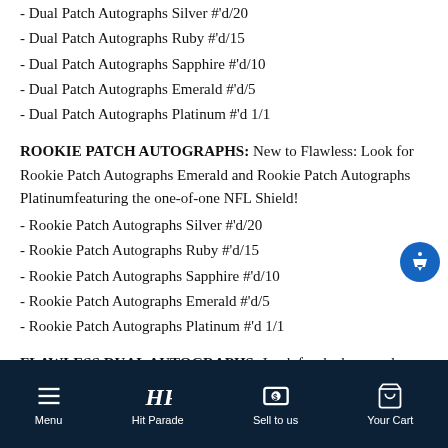- Dual Patch Autographs Silver #'d/20
- Dual Patch Autographs Ruby #'d/15
- Dual Patch Autographs Sapphire #'d/10
- Dual Patch Autographs Emerald #'d/5
- Dual Patch Autographs Platinum #'d 1/1
ROOKIE PATCH AUTOGRAPHS: New to Flawless: Look for Rookie Patch Autographs Emerald and Rookie Patch Autographs Platinumfeaturing the one-of-one NFL Shield!
- Rookie Patch Autographs Silver #'d/20
- Rookie Patch Autographs Ruby #'d/15
- Rookie Patch Autographs Sapphire #'d/10
- Rookie Patch Autographs Emerald #'d/5
- Rookie Patch Autographs Platinum #'d 1/1
FLAWLESS DUAL AUTOGRAPHS: Look for dual on-card autographs in Flawless Dual Autographs! These cards will feature
Menu   Hit Parade   Sell to us   Your Cart